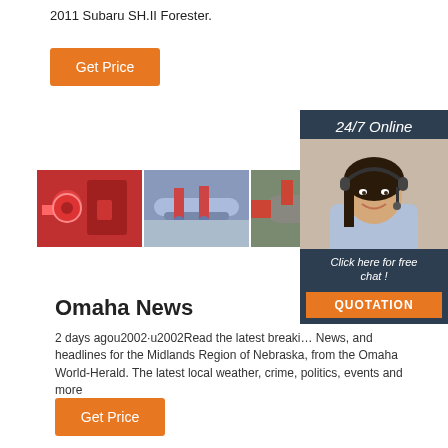2011 Subaru SH.II Forester.
Get Price
[Figure (photo): Three industrial equipment photos side by side: red machinery, blue/grey pipes, grey cylindrical equipment]
[Figure (photo): Customer service representative with headset, smiling, with 24/7 Online banner and QUOTATION button]
Omaha News
2 days agou2002·u2002Read the latest breaking News, and headlines for the Midlands Region of Nebraska, from the Omaha World-Herald. The latest local weather, crime, politics, events and more
Get Price